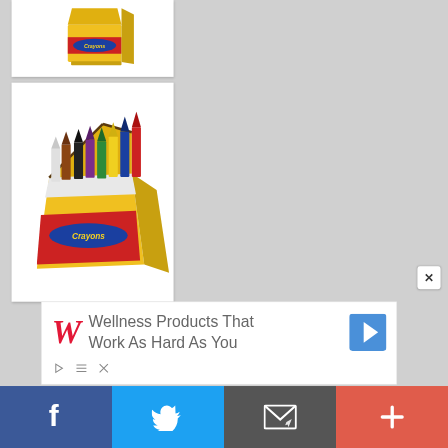[Figure (illustration): 3D rendered yellow and red Crayons box (closed), partially visible at top of page]
[Figure (illustration): 3D rendered open yellow and red Crayons box with colorful crayons (white, brown, black, purple, green, yellow, blue, red) sticking out]
[Figure (screenshot): Advertisement banner: Walgreens logo (red W) with text 'Wellness Products That Work As Hard As You' and blue navigation arrow icon]
[Figure (screenshot): Social media sharing bar at bottom with Facebook (blue), Twitter (light blue), Email (gray), and More/Plus (red/coral) buttons]